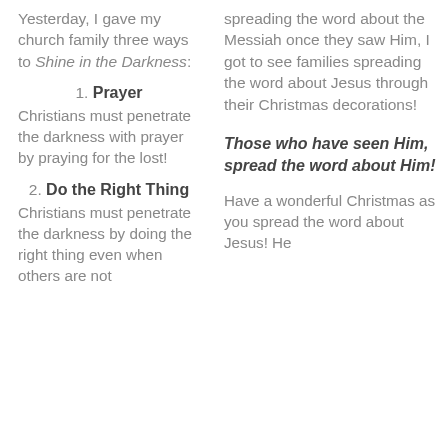Yesterday, I gave my church family three ways to Shine in the Darkness:
1. Prayer
Christians must penetrate the darkness with prayer by praying for the lost!
2. Do the Right Thing
Christians must penetrate the darkness by doing the right thing even when others are not
spreading the word about the Messiah once they saw Him, I got to see families spreading the word about Jesus through their Christmas decorations!
Those who have seen Him, spread the word about Him!
Have a wonderful Christmas as you spread the word about Jesus! He